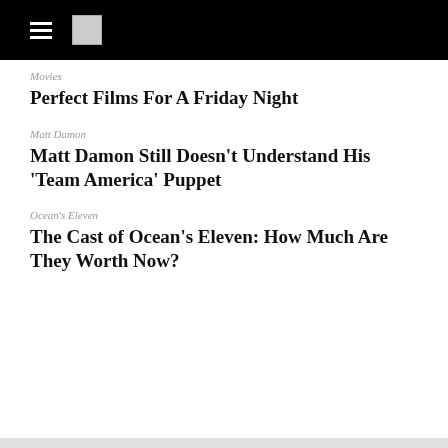Movies
Perfect Films For A Friday Night
Matt Damon
Matt Damon Still Doesn't Understand His 'Team America' Puppet
Ocean's Eleven
The Cast of Ocean's Eleven: How Much Are They Worth Now?